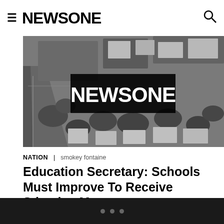NEWSONE
[Figure (photo): Aerial black and white photo of suburban neighborhood with roads, trees, and houses. NEWSONE logo overlay in center.]
NATION | smokey fontaine
Education Secretary: Schools Must Improve To Receive Stimulus Money
[Figure (photo): Partial aerial black and white photo of neighborhood, partially cropped at bottom of page.]
• • •